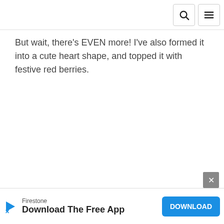But wait, there's EVEN more! I've also formed it into a cute heart shape, and topped it with festive red berries.
[Figure (screenshot): Advertisement banner at bottom of page. Shows Firestone brand logo with a play/triangle icon and X below it. Text reads 'Firestone Download The Free App' with a blue DOWNLOAD button on the right. A close button (X) appears above the banner.]